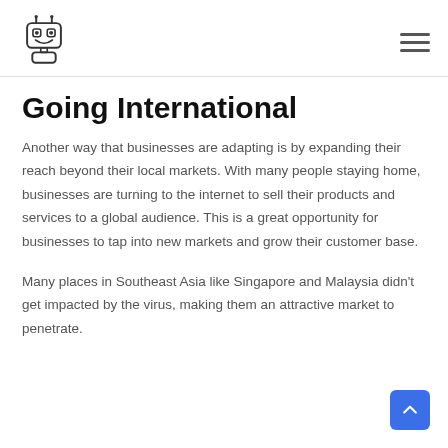[Robot logo] [Hamburger menu]
Going International
Another way that businesses are adapting is by expanding their reach beyond their local markets. With many people staying home, businesses are turning to the internet to sell their products and services to a global audience. This is a great opportunity for businesses to tap into new markets and grow their customer base.
Many places in Southeast Asia like Singapore and Malaysia didn't get impacted by the virus, making them an attractive market to penetrate.